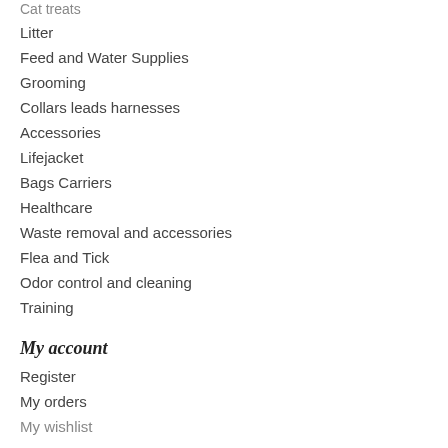Cat treats
Litter
Feed and Water Supplies
Grooming
Collars leads harnesses
Accessories
Lifejacket
Bags Carriers
Healthcare
Waste removal and accessories
Flea and Tick
Odor control and cleaning
Training
My account
Register
My orders
My wishlist